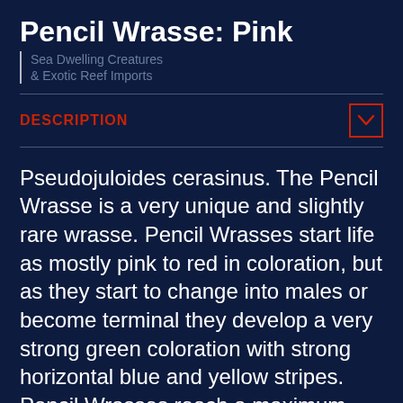Pencil Wrasse: Pink
[Figure (logo): Sea Dwelling Creatures & Exotic Reef Imports logo with vertical bar divider]
DESCRIPTION
Pseudojuloides cerasinus. The Pencil Wrasse is a very unique and slightly rare wrasse. Pencil Wrasses start life as mostly pink to red in coloration, but as they start to change into males or become terminal they develop a very strong green coloration with strong horizontal blue and yellow stripes. Pencil Wrasses reach a maximum adult size of around 5 inches and need to be kept in tanks that are at least 75 gallons. Pencil Wrasses are extremely strong